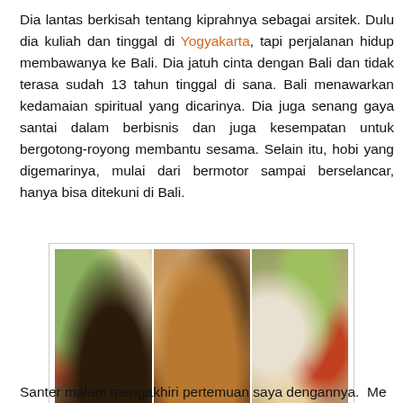Dia lantas berkisah tentang kiprahnya sebagai arsitek. Dulu dia kuliah dan tinggal di Yogyakarta, tapi perjalanan hidup membawanya ke Bali. Dia jatuh cinta dengan Bali dan tidak terasa sudah 13 tahun tinggal di sana. Bali menawarkan kedamaian spiritual yang dicarinya. Dia juga senang gaya santai dalam berbisnis dan juga kesempatan untuk bergotong-royong membantu sesama. Selain itu, hobi yang digemarinya, mulai dari bermotor sampai berselancar, hanya bisa ditekuni di Bali.
[Figure (photo): Three food dishes side by side: nasi tempong (left), bakmi kepiting (center), babi guling (right)]
Dari kiri: nasi tempong, bakmi kepiting, babi guling.
Santer malam mengakhiri pertemuan saya dengannya. Me...